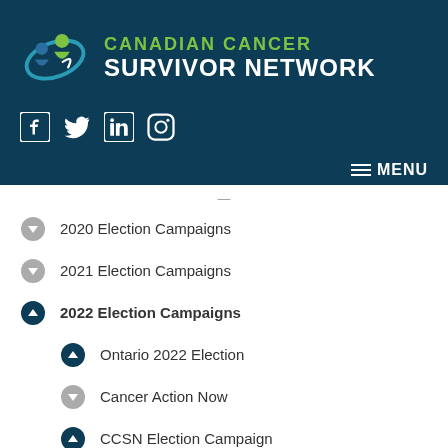[Figure (logo): Canadian Cancer Survivor Network logo with teal background, green and white figure icons, green text 'CANADIAN CANCER' and white text 'SURVIVOR NETWORK']
[Figure (infographic): Social media icons: Facebook, Twitter, LinkedIn, Instagram in white on teal background]
≡ MENU
2020 Election Campaigns
2021 Election Campaigns
2022 Election Campaigns
Ontario 2022 Election
Cancer Action Now
CCSN Election Campaign
Bhutila Karpoche – Parkdale-High Park – NDP
Carla Johnson – Cambridge – Green